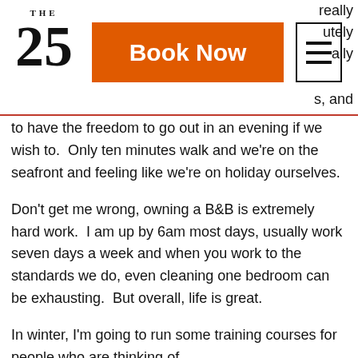THE 25 | Book Now | [menu icon] | really | utely | ally | s, and
to have the freedom to go out in an evening if we wish to.  Only ten minutes walk and we're on the seafront and feeling like we're on holiday ourselves.
Don't get me wrong, owning a B&B is extremely hard work.  I am up by 6am most days, usually work seven days a week and when you work to the standards we do, even cleaning one bedroom can be exhausting.  But overall, life is great.
In winter, I'm going to run some training courses for people who are thinking of